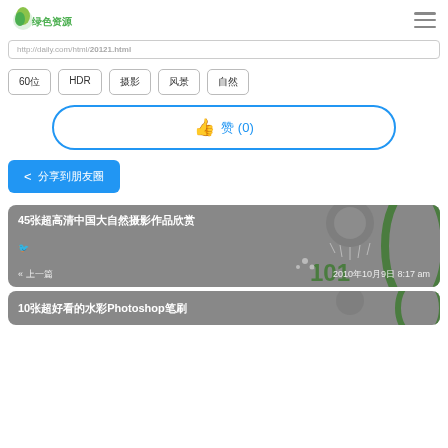Logo / Navigation
http://daily.com/html/20121.html
60位
HDR
摄影
风景
自然
👍 赞 (0)
分享到朋友圈
45张超高清中国大自然摄影作品欣赏 « 上一篇 2010年10月9日 8:17 am
10张超好看的水彩Photoshop笔刷